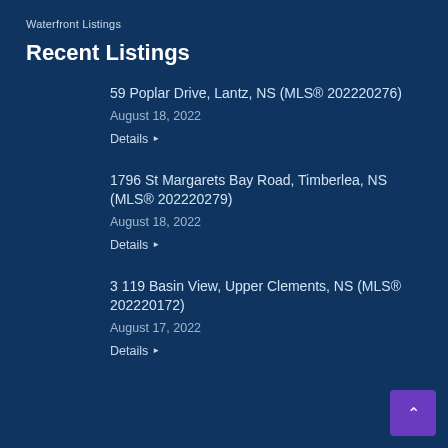Waterfront Listings
Recent Listings
59 Poplar Drive, Lantz, NS (MLS® 202220276)
August 18, 2022
Details
1796 St Margarets Bay Road, Timberlea, NS (MLS® 202220279)
August 18, 2022
Details
3 119 Basin View, Upper Clements, NS (MLS® 202220172)
August 17, 2022
Details